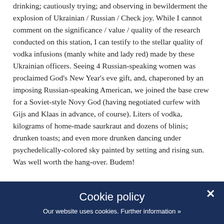drinking; cautiously trying; and observing in bewilderment the explosion of Ukrainian / Russian / Check joy. While I cannot comment on the significance / value / quality of the research conducted on this station, I can testify to the stellar quality of vodka infusions (manly white and lady red) made by these Ukrainian officers. Seeing 4 Russian-speaking women was proclaimed God's New Year's eve gift, and, chaperoned by an imposing Russian-speaking American, we joined the base crew for a Soviet-style Novy God (having negotiated curfew with Gijs and Klaas in advance, of course). Liters of vodka, kilograms of home-made saurkraut and dozens of blinis; drunken toasts; and even more drunken dancing under psychedelically-colored sky painted by setting and rising sun. Was well worth the hang-over. Budem!
[Figure (screenshot): Cookie policy banner with dark navy background. Title: 'Cookie policy'. Text: 'Our website uses cookies. Further information »'. Close button (×) in top right corner.]